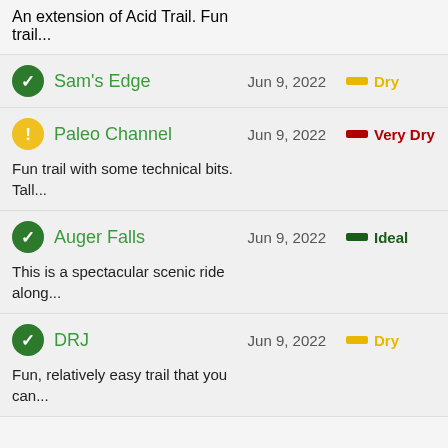An extension of Acid Trail. Fun trail...
Sam's Edge — Jun 9, 2022 — Dry
Paleo Channel — Jun 9, 2022 — Very Dry — Fun trail with some technical bits. Tall...
Auger Falls — Jun 9, 2022 — Ideal — This is a spectacular scenic ride along...
DRJ — Jun 9, 2022 — Dry — Fun, relatively easy trail that you can...